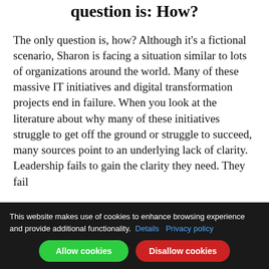question is: How?
The only question is, how? Although it's a fictional scenario, Sharon is facing a situation similar to lots of organizations around the world. Many of these massive IT initiatives and digital transformation projects end in failure. When you look at the literature about why many of these initiatives struggle to get off the ground or struggle to succeed, many sources point to an underlying lack of clarity. Leadership fails to gain the clarity they need. They fail
This website makes use of cookies to enhance browsing experience and provide additional functionality. Details Privacy policy Allow cookies Disallow cookies